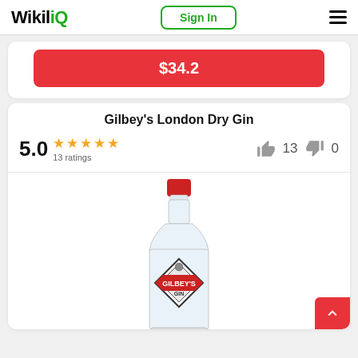WikiliQ — Sign In (navigation header)
$34.2
Gilbey's London Dry Gin
5.0  ★★★★★  13 ratings   👍 13  👎 0
[Figure (photo): Bottle of Gilbey's London Dry Gin with red cap and diamond-shaped label]